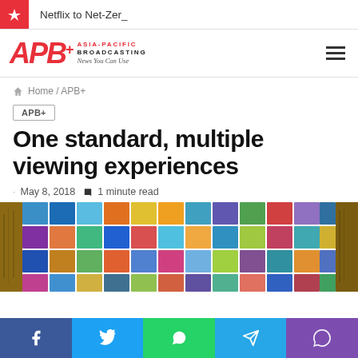Netflix to Net-Zer_
[Figure (logo): APB+ Asia-Pacific Broadcasting logo with tagline 'News You Can Use']
Home / APB+
APB+
One standard, multiple viewing experiences
May 8, 2018  1 minute read
[Figure (photo): Mosaic collage of photos displayed on a wooden background]
Social share bar: Facebook, Twitter, WhatsApp, Telegram, Viber